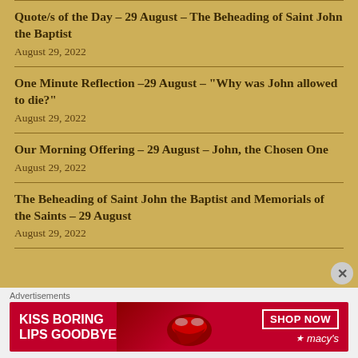Quote/s of the Day – 29 August – The Beheading of Saint John the Baptist
August 29, 2022
One Minute Reflection –29 August – "Why was John allowed to die?"
August 29, 2022
Our Morning Offering – 29 August – John, the Chosen One
August 29, 2022
The Beheading of Saint John the Baptist and Memorials of the Saints – 29 August
August 29, 2022
Advertisements
[Figure (photo): Advertisement banner for Macy's: red background with white bold text 'KISS BORING LIPS GOODBYE', a woman's face with red lipstick, and a 'SHOP NOW' button with Macy's star logo.]